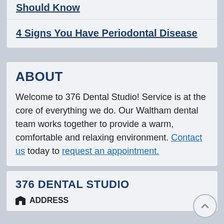4 Signs You Have Periodontal Disease
ABOUT
Welcome to 376 Dental Studio! Service is at the core of everything we do. Our Waltham dental team works together to provide a warm, comfortable and relaxing environment. Contact us today to request an appointment.
376 DENTAL STUDIO
ADDRESS